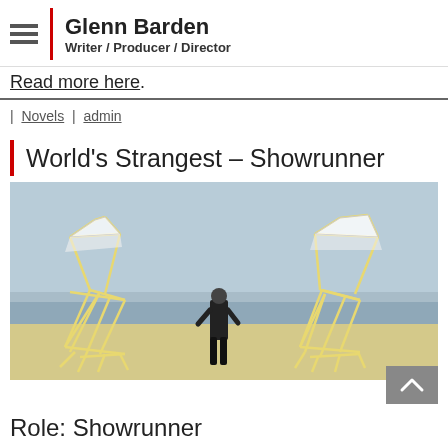Glenn Barden
Writer / Producer / Director
Read more here.
| Novels | admin
World's Strangest – Showrunner
[Figure (photo): A man in black clothing standing on a beach between two large yellow kinetic sculpture creatures made of sticks/tubes, with white sail-like structures on top. Beach and overcast sky in background.]
Role: Showrunner